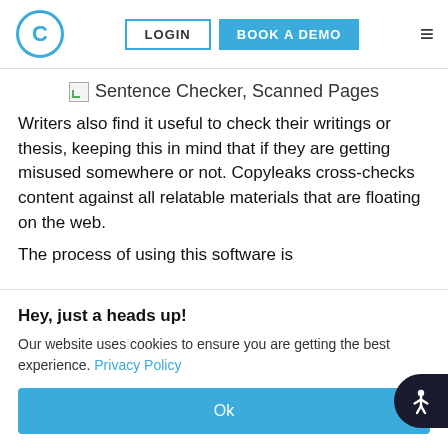C | LOGIN | BOOK A DEMO | ≡
[Figure (screenshot): Broken image icon followed by text: Sentence Checker, Scanned Pages]
Writers also find it useful to check their writings or thesis, keeping this in mind that if they are getting misused somewhere or not. Copyleaks cross-checks content against all relatable materials that are floating on the web.
The process of using this software is
Hey, just a heads up!
Our website uses cookies to ensure you are getting the best experience. Privacy Policy
Ok